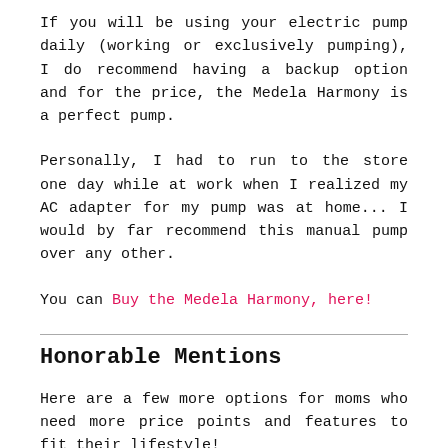If you will be using your electric pump daily (working or exclusively pumping), I do recommend having a backup option and for the price, the Medela Harmony is a perfect pump.
Personally, I had to run to the store one day while at work when I realized my AC adapter for my pump was at home... I would by far recommend this manual pump over any other.
You can Buy the Medela Harmony, here!
Honorable Mentions
Here are a few more options for moms who need more price points and features to fit their lifestyle!